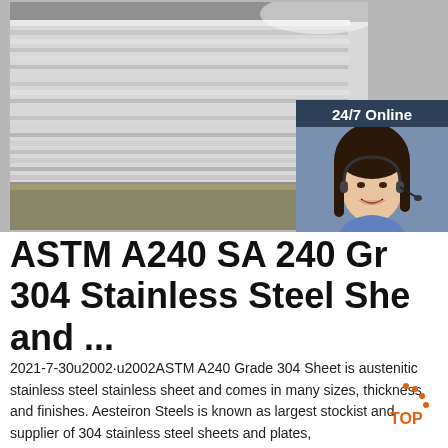[Figure (photo): Photo of stainless steel sheets stacked on a wooden pallet, showing silver metallic edges, with a customer service chat widget overlay showing a female agent with headset and '24/7 Online' label, a 'Click here for free chat!' prompt, and an orange QUOTATION button]
ASTM A240 SA 240 Gr 304 Stainless Steel She and ...
2021-7-30u2002·u2002ASTM A240 Grade 304 Sheet is austenitic stainless steel stainless sheet and comes in many sizes, thickness and finishes. Aesteiron Steels is known as largest stockist and supplier of 304 stainless steel sheets and plates,